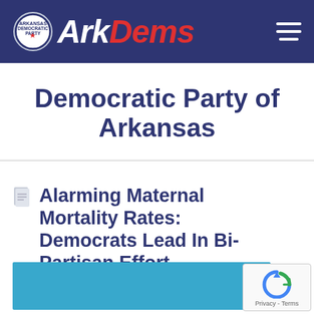ArkDems
Democratic Party of Arkansas
Alarming Maternal Mortality Rates: Democrats Lead In Bi-Partisan Effort
[Figure (photo): Blue image preview area at the bottom of the page, partially visible]